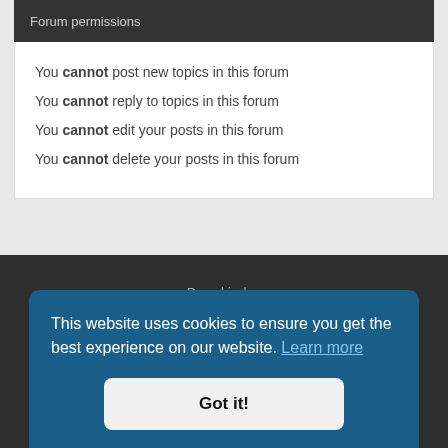Forum permissions
You cannot post new topics in this forum
You cannot reply to topics in this forum
You cannot edit your posts in this forum
You cannot delete your posts in this forum
Board index
Delete cookies
Theme
This website uses cookies to ensure you get the best experience on our website. Learn more
Got it!